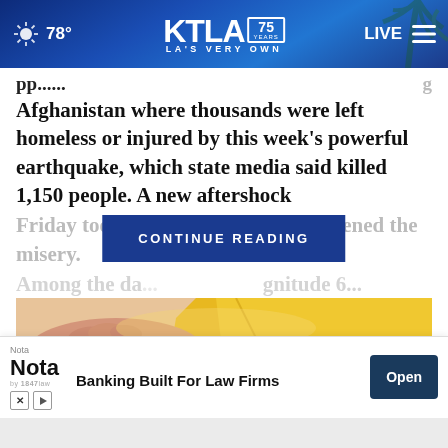KTLA 75 Years — LA'S VERY OWN | 78° | LIVE
Afghanistan where thousands were left homeless or injured by this week's powerful earthquake, which state media said killed 1,150 people. A new aftershock Friday took five more lives and deepened the misery.
Among the da... magnitude 6...
CONTINUE READING
[Figure (photo): Close-up photo of hands holding or working with yellow material/fabric on a light surface]
Nota
Banking Built For Law Firms
Open